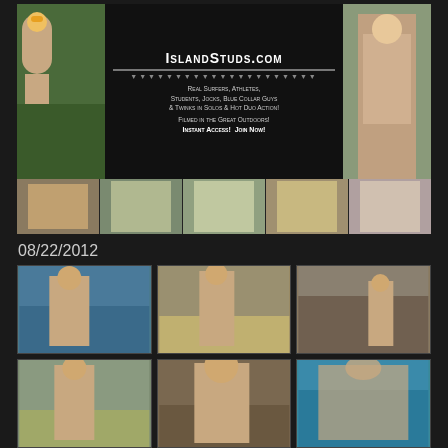[Figure (photo): IslandStuds.com website banner advertisement with collage of outdoor nude male photos and text: Real Surfers, Athletes, Students, Jocks, Blue Collar Guys & Twinks in Solos & Hot Duo Action! Filmed in the Great Outdoors! Instant Access! Join Now!]
08/22/2012
[Figure (photo): Grid of 6 outdoor nude male photos arranged in 2 rows of 3, showing various outdoor/beach/water scenes]